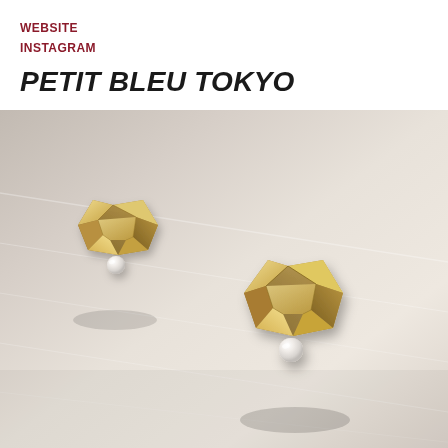WEBSITE
INSTAGRAM
PETIT BLEU TOKYO
[Figure (photo): Two gold origami-style geometric earrings with small pearl drops, photographed on a light gray textured surface. The earrings appear to be made of folded brass or gold-toned metal formed into star-like geometric shapes, each with a small white pearl at the base.]